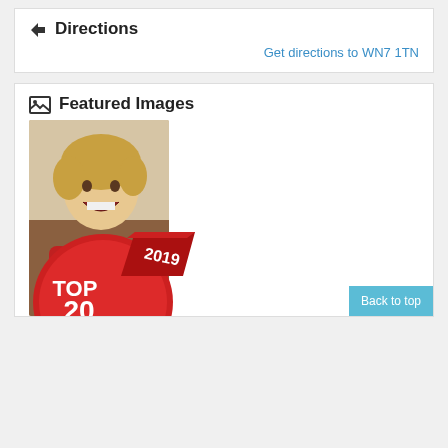Directions
Get directions to WN7 1TN
Featured Images
[Figure (photo): Young child with blonde hair wearing a red shirt, laughing with mouth wide open]
[Figure (illustration): Top 20 2019 award badge - red circular badge with banner]
Back to top